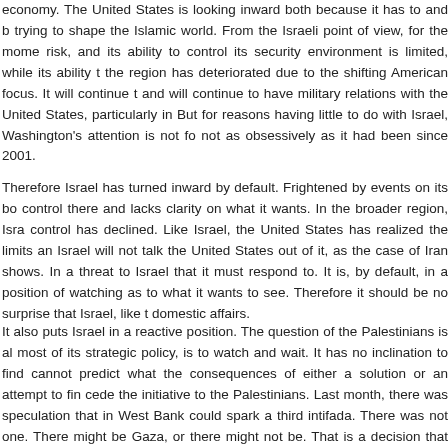economy. The United States is looking inward both because it has to and because it is no longer trying to shape the Islamic world. From the Israeli point of view, for the moment, this creates risk, and its ability to control its security environment is limited, while its ability to influence the region has deteriorated due to the shifting American focus. It will continue to receive aid and will continue to have military relations with the United States, particularly in covert matters. But for reasons having little to do with Israel, Washington's attention is not focused on Israel, not as obsessively as it had been since 2001.
Therefore Israel has turned inward by default. Frightened by events on its borders, it has no control there and lacks clarity on what it wants. In the broader region, Israel's ability to exert control has declined. Like Israel, the United States has realized the limits and has pulled back. Israel will not talk the United States out of it, as the case of Iran shows. In a sense, Iran is a threat to Israel that it must respond to. It is, by default, in a position of watching and waiting as to what it wants to see. Therefore it should be no surprise that Israel, like the U.S., turns to domestic affairs.
It also puts Israel in a reactive position. The question of the Palestinians is alive. Israel, like most of its strategic policy, is to watch and wait. It has no inclination to find a solution and cannot predict what the consequences of either a solution or an attempt to find one would be. To cede the initiative to the Palestinians. Last month, there was speculation that instability in the West Bank could spark a third intifada. There was not one. There might be an escalation in Gaza, or there might not be. That is a decision that Hamas will make.